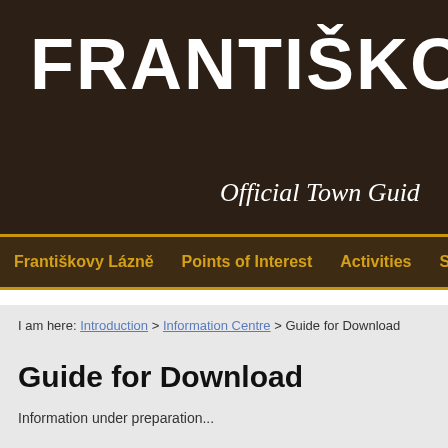FRANTIŠKOVY LÁZNĚ
Official Town Guide
Františkovy Lázně | Points of Interest | Activities | Spa
I am here: Introduction > Information Centre > Guide for Download
Guide for Download
Information under preparation...